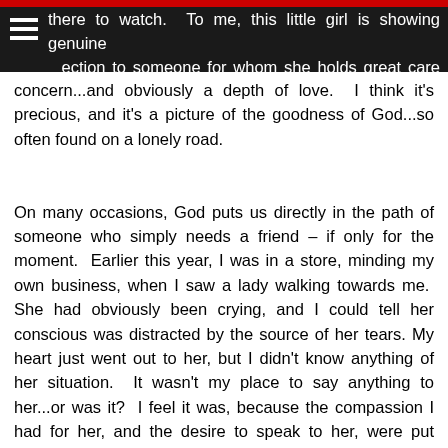there to watch.  To me, this little girl is showing genuine direction to someone for whom she holds great care and concern...and obviously a depth of love.  I think it's precious, and it's a picture of the goodness of God...so often found on a lonely road.
On many occasions, God puts us directly in the path of someone who simply needs a friend – if only for the moment.  Earlier this year, I was in a store, minding my own business, when I saw a lady walking towards me.  She had obviously been crying, and I could tell her conscious was distracted by the source of her tears. My heart just went out to her, but I didn't know anything of her situation.  It wasn't my place to say anything to her...or was it?  I feel it was, because the compassion I had for her, and the desire to speak to her, were put there by a God who was asking me to show her His goodness.  (We often think God will only give us direction in a way that awes our senses, but I feel He mostly just gently "hints" to us in our mind.) As she